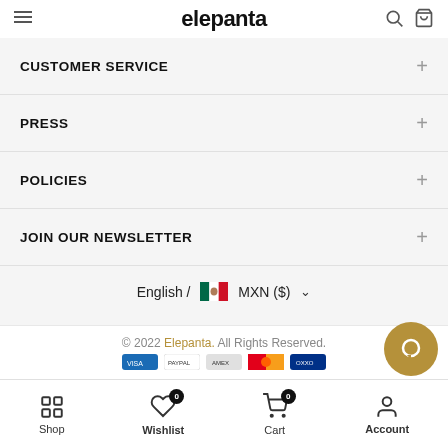elepanta
CUSTOMER SERVICE
PRESS
POLICIES
JOIN OUR NEWSLETTER
English / 🇲🇽 MXN ($)
© 2022 Elepanta. All Rights Reserved.
Shop  Wishlist 0  Cart 0  Account